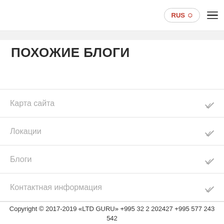RUS
ПОХОЖИЕ БЛОГИ
Карта сайта
Локации
Блоги
Контактная информация
Copyright © 2017-2019 «LTD GURU» +995 32 2 202427 +995 577 243 542